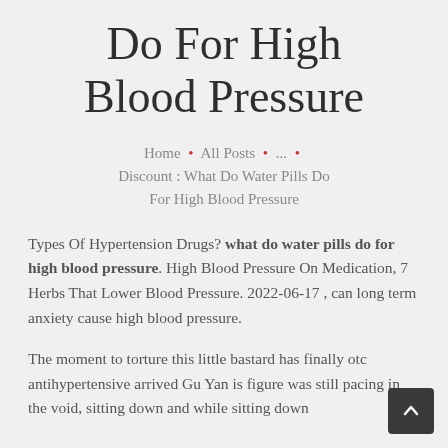Do For High Blood Pressure
Home · All Posts · ... · Discount : What Do Water Pills Do For High Blood Pressure
Types Of Hypertension Drugs? what do water pills do for high blood pressure. High Blood Pressure On Medication, 7 Herbs That Lower Blood Pressure. 2022-06-17 , can long term anxiety cause high blood pressure.
The moment to torture this little bastard has finally otc antihypertensive arrived Gu Yan is figure was still pacing in the void, sitting down and while sitting down